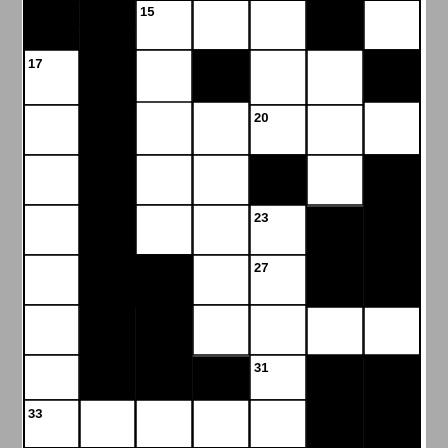[Figure (other): Partial crossword puzzle grid showing numbers 15, 17, 20, 23, 27, 31, 33 in white cells, with black cells forming the standard crossword blocking pattern.]